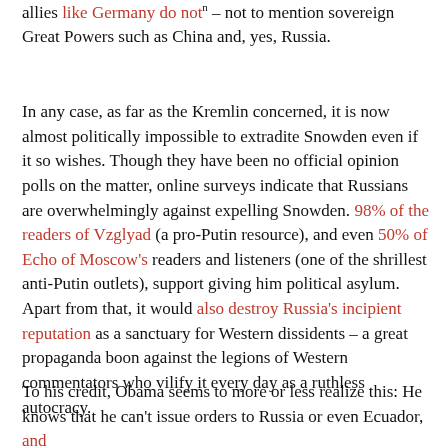allies like Germany do not – not to mention sovereign Great Powers such as China and, yes, Russia.
In any case, as far as the Kremlin concerned, it is now almost politically impossible to extradite Snowden even if it so wishes. Though they have been no official opinion polls on the matter, online surveys indicate that Russians are overwhelmingly against expelling Snowden. 98% of the readers of Vzglyad (a pro-Putin resource), and even 50% of Echo of Moscow's readers and listeners (one of the shrillest anti-Putin outlets), support giving him political asylum. Apart from that, it would also destroy Russia's incipient reputation as a sanctuary for Western dissidents – a great propaganda boon against the legions of Western commentators who vilify it every day as a ruthless autocracy.
To his credit, Obama seems to more or less realize this: He knows that he can't issue orders to Russia or even Ecuador, and